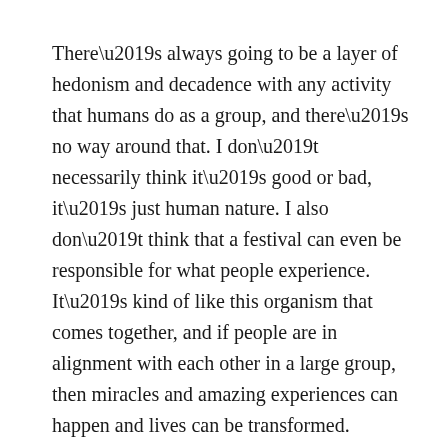There’s always going to be a layer of hedonism and decadence with any activity that humans do as a group, and there’s no way around that. I don’t necessarily think it’s good or bad, it’s just human nature. I also don’t think that a festival can even be responsible for what people experience. It’s kind of like this organism that comes together, and if people are in alignment with each other in a large group, then miracles and amazing experiences can happen and lives can be transformed.
I do think that in Western society we’ve lost touch with coming together as a culture and having communal experiences that we can all celebrate together. I grew up in Indiana, and sports was pretty much the only thing that we could do as a